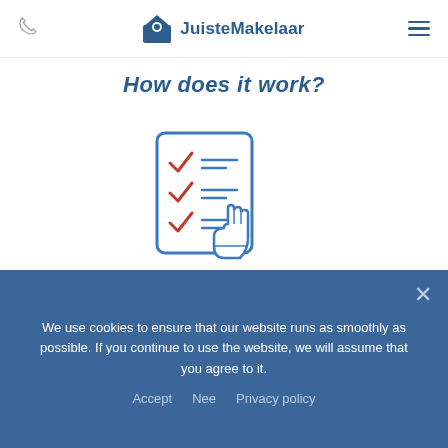JuisteMakelaar
How does it work?
[Figure (illustration): Checklist icon with red checkmarks and blue lines, overlaid with a pointing hand cursor icon, all in blue outline style]
Select your preferences
We use cookies to ensure that our website runs as smoothly as possible. If you continue to use the website, we will assume that you agree to it.
Accept  Nee  Privacy policy